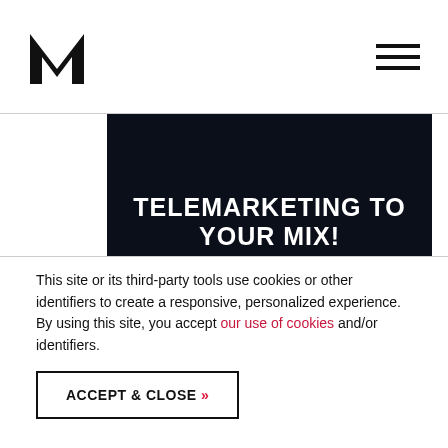[Logo: M icon] [Hamburger menu icon]
TELEMARKETING TO YOUR MIX!
VIEW »
[Figure (other): Dark navy banner block (second)]
This site or its third-party tools use cookies or other identifiers to create a responsive, personalized experience. By using this site, you accept our use of cookies and/or identifiers.
ACCEPT & CLOSE »